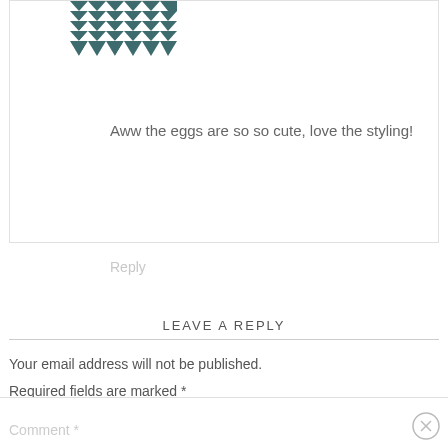[Figure (illustration): Abstract geometric avatar with teal/dark teal triangles and diamond patterns on white background]
Aww the eggs are so so cute, love the styling!
Reply
LEAVE A REPLY
Your email address will not be published.
Required fields are marked *
Comment *